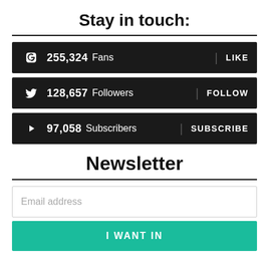Stay in touch:
255,324 Fans LIKE
128,657 Followers FOLLOW
97,058 Subscribers SUBSCRIBE
Newsletter
Email address
I WANT IN